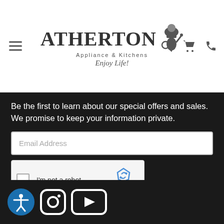Atherton Appliance & Kitchens — Enjoy Life!
Be the first to learn about our special offers and sales. We promise to keep your information private.
[Figure (screenshot): Email Address input field (text input box)]
[Figure (screenshot): reCAPTCHA widget with checkbox 'I'm not a robot' and reCAPTCHA logo with Privacy - Terms links]
[Figure (other): Join Now button]
[Figure (other): Social media icons: accessibility, Instagram, YouTube]